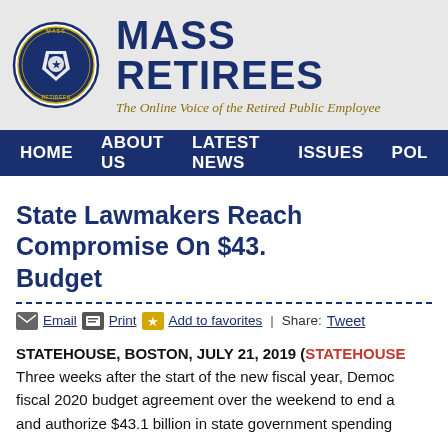[Figure (logo): Mass Retirees circular seal logo with Massachusetts state shield and text 'MASS RETIREES' around border]
MASS RETIREES — The Online Voice of the Retired Public Employee
HOME | ABOUT US | LATEST NEWS | ISSUES | POL...
State Lawmakers Reach Compromise On $43.1 Budget
Email  Print  Add to favorites  |  Share:  Tweet
STATEHOUSE, BOSTON, JULY 21, 2019 (STATEHOUSE... Three weeks after the start of the new fiscal year, Democrats reached a fiscal 2020 budget agreement over the weekend to end a and authorize $43.1 billion in state government spending
The deal, which is expected to be voted on Monday by both chambers of the Senate, puts the state in position to potentially have a budget signed by the Legislature to avoid having to approve another stopgap Gov. Charlie Baker signs it within 10 days, Massachusetts the last state in the country without a signed full-year bud